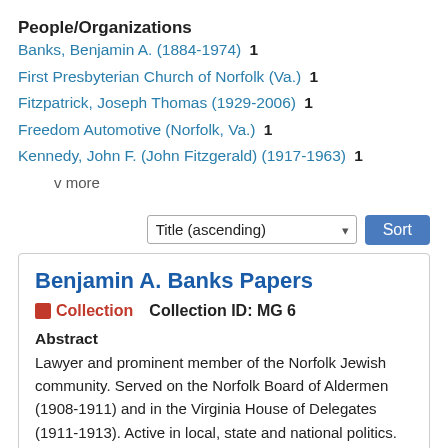People/Organizations
Banks, Benjamin A. (1884-1974)  1
First Presbyterian Church of Norfolk (Va.)  1
Fitzpatrick, Joseph Thomas (1929-2006)  1
Freedom Automotive (Norfolk, Va.)  1
Kennedy, John F. (John Fitzgerald) (1917-1963)  1
v  more
Title (ascending)  Sort
Benjamin A. Banks Papers
Collection    Collection ID: MG 6
Abstract
Lawyer and prominent member of the Norfolk Jewish community. Served on the Norfolk Board of Aldermen (1908-1911) and in the Virginia House of Delegates (1911-1913). Active in local, state and national politics. Includes personal and political correspondence, scrapbooks, letters to the editor, and photographs.